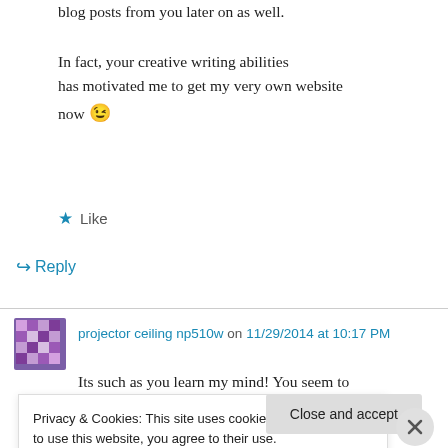blog posts from you later on as well.

In fact, your creative writing abilities has motivated me to get my very own website now 😉
★ Like
↪ Reply
projector ceiling np510w on 11/29/2014 at 10:17 PM
Its such as you learn my mind! You seem to
Privacy & Cookies: This site uses cookies. By continuing to use this website, you agree to their use.
To find out more, including how to control cookies, see here: Cookie Policy
Close and accept